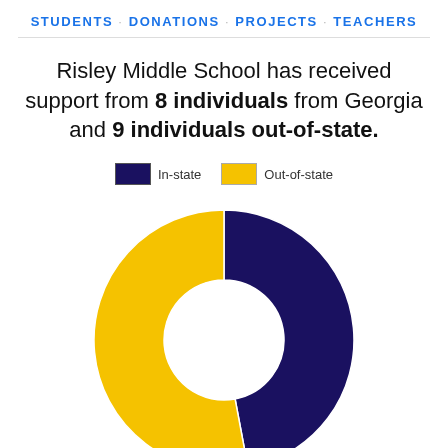STUDENTS · DONATIONS · PROJECTS · TEACHERS
Risley Middle School has received support from 8 individuals from Georgia and 9 individuals out-of-state.
[Figure (donut-chart): ]